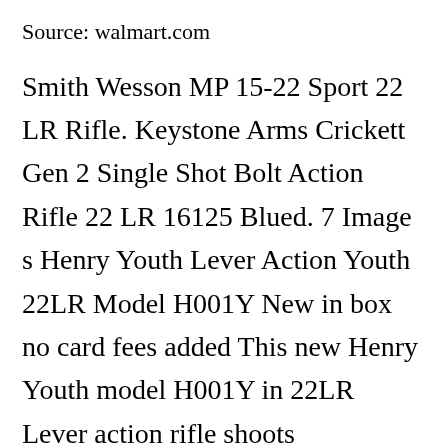Source: walmart.com
Smith Wesson MP 15-22 Sport 22 LR Rifle. Keystone Arms Crickett Gen 2 Single Shot Bolt Action Rifle 22 LR 16125 Blued. 7 Image s Henry Youth Lever Action Youth 22LR Model H001Y New in box no card fees added This new Henry Youth model H001Y in 22LR Lever action rifle shoots 22LR22long22 short. This little rifle has started off many shooters over the years. Although there are no frills the lessons learned here are